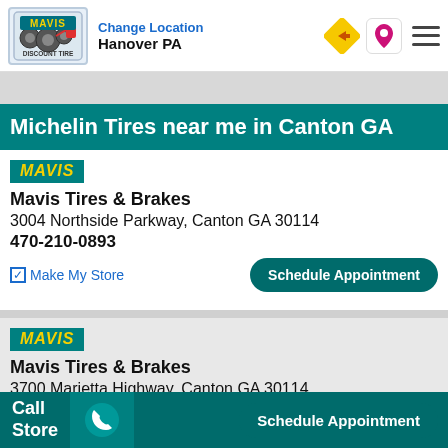Change Location Hanover PA
Michelin Tires near me in Canton GA
Mavis Tires & Brakes
3004 Northside Parkway, Canton GA 30114
470-210-0893
Make My Store
Schedule Appointment
Mavis Tires & Brakes
3700 Marietta Highway, Canton GA 30114
678-830-2098
Schedule Appointment
Call Store